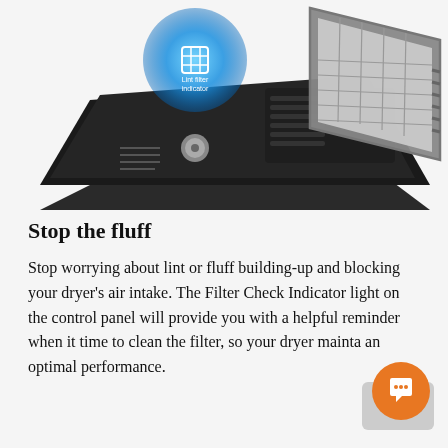[Figure (photo): Photo of a top-loading dryer control panel (dark/black) with a blue glowing 'Lint filter indicator' badge/icon overlay on the left, and a gray lint filter trap shown separately on the right.]
Stop the fluff
Stop worrying about lint or fluff building-up and blocking your dryer's air intake. The Filter Check Indicator light on the control panel will provide you with a helpful reminder when it time to clean the filter, so your dryer maintains an optimal performance.